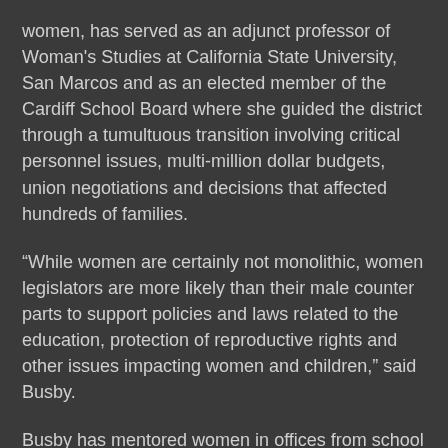women, has served as an adjunct professor of Woman's Studies at California State University, San Marcos and as an elected member of the Cardiff School Board where she guided the district through a tumultuous transition involving critical personnel issues, multi-million dollar budgets, union negotiations and decisions that affected hundreds of families.
“While women are certainly not monolithic, women legislators are more likely than their male counter parts to support policies and laws related to the education, protection of reproductive rights and other issues impacting women and children,” said Busby.
Busby has mentored women in offices from school board and city council to state Assembly and Congress. She has also worked closely with Emily’s List, the California List, California Women Lead, the National Organization for Women, National Women's Political Caucus, Emerge, Planned Parenthood and other organizations that support women in leadership and elected office.